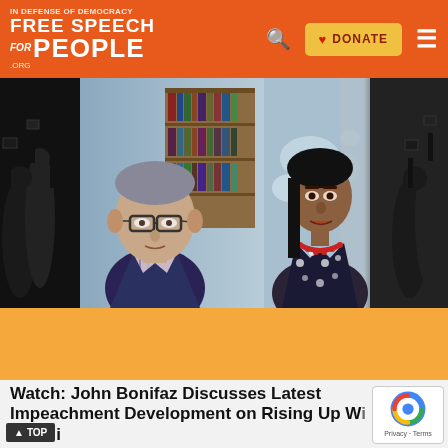Free Speech For People .org — DONATE — navigation menu
[Figure (screenshot): Video thumbnail showing two people in a split-screen video call: on the left, a middle-aged man with glasses and gray hair in a dark jacket sitting in front of a bookshelf; on the right, a South Asian woman with long dark hair wearing a patterned dark top and red beaded necklace, with a world map background. Dark crowd silhouette visible on the edges.]
Watch: John Bonifaz Discusses Latest Impeachment Development on Rising Up With Sonali